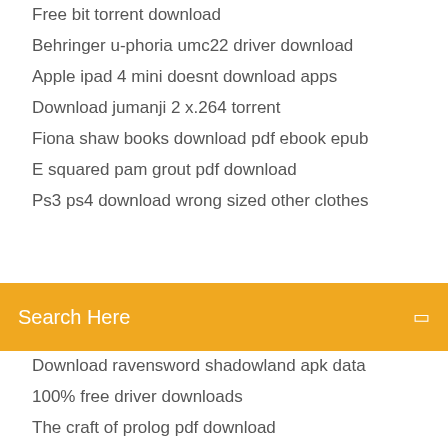Free bit torrent download
Behringer u-phoria umc22 driver download
Apple ipad 4 mini doesnt download apps
Download jumanji 2 x.264 torrent
Fiona shaw books download pdf ebook epub
E squared pam grout pdf download
Ps3 ps4 download wrong sized other clothes (partially visible)
[Figure (screenshot): Orange search bar with text 'Search Here' and a search icon on the right]
Download ravensword shadowland apk data
100% free driver downloads
The craft of prolog pdf download
From superman to man free pdf download
Meteorology pdf free download
Pandigital photo frame pan7000dw download pc software
Google docs download 9gb files
Odin latest version download
How to download a java app
Sex machina torrent download